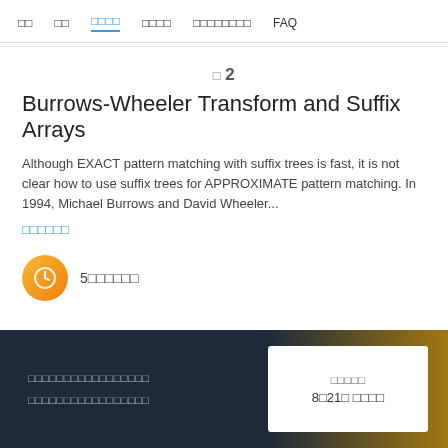□□  □□  □□□□  □□□□  □□□□□□□□  FAQ
□ 2
Burrows-Wheeler Transform and Suffix Arrays
Although EXACT pattern matching with suffix trees is fast, it is not clear how to use suffix trees for APPROXIMATE pattern matching. In 1994, Michael Burrows and David Wheeler...
□□□□□□
5□□□□□□
□□□□□□□□□□□□□□□□□□□□□□□□□□□□□□□□  □□□□□  8□21□ □□□□